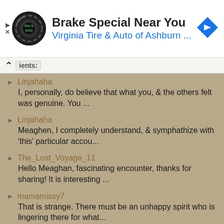[Figure (other): Advertisement banner: Virginia Tire & Auto logo (circular black badge), heading 'Brake Special Near You', subheading 'Virginia Tire & Auto of Ashburn ...', blue diamond navigation arrow icon on right]
ients:
Linjahaha
I, personally, do believe that what you, & the others felt was genuine. You ...
Linjahaha
Meaghen, I completely understand, & symphathize with 'this' particular accou...
The_Lost_Voyage_11
Hello Meaghan, fascinating encounter, thanks for sharing! It is interesting ...
mamamissy7
That is strange. There must be an unhappy spirit who is lingering there for what...
mamamissy7
I'm sorry I forgot to check the comments. I was raised Christian. The man looked...
Belros79